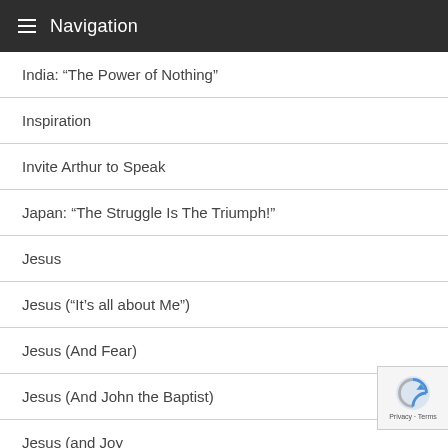Navigation
India: “The Power of Nothing”
Inspiration
Invite Arthur to Speak
Japan: “The Struggle Is The Triumph!”
Jesus
Jesus (“It’s all about Me”)
Jesus (And Fear)
Jesus (And John the Baptist)
Jesus (and Joy